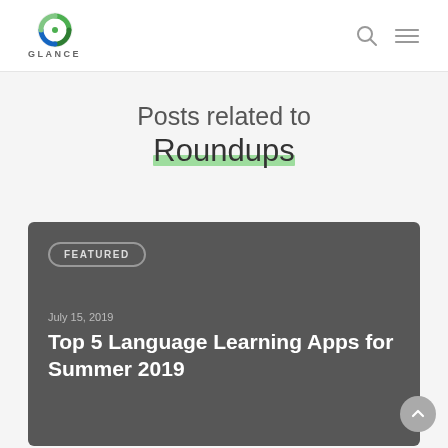GLANCE
Posts related to Roundups
July 15, 2019
FEATURED
Top 5 Language Learning Apps for Summer 2019